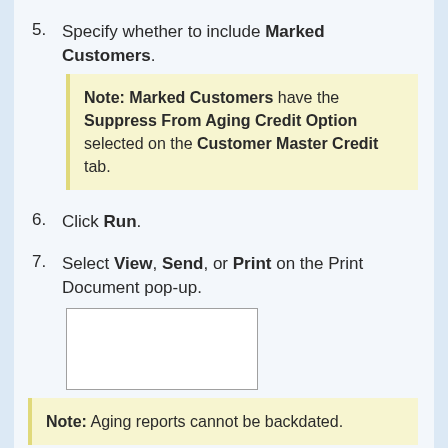5. Specify whether to include Marked Customers.
Note: Marked Customers have the Suppress From Aging Credit Option selected on the Customer Master Credit tab.
6. Click Run.
7. Select View, Send, or Print on the Print Document pop-up.
[Figure (screenshot): A blank white rectangular box, likely a screenshot placeholder for the Print Document pop-up dialog.]
Note: Aging reports cannot be backdated.